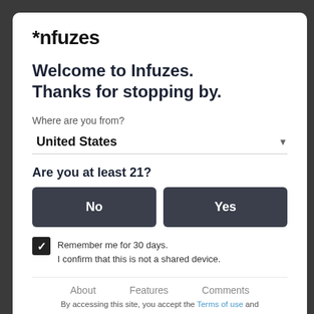Infuzes
Welcome to Infuzes.
Thanks for stopping by.
Where are you from?
United States
Are you at least 21?
No
Yes
Remember me for 30 days.
I confirm that this is not a shared device.
About   Features   Comments
By accessing this site, you accept the Terms of use and